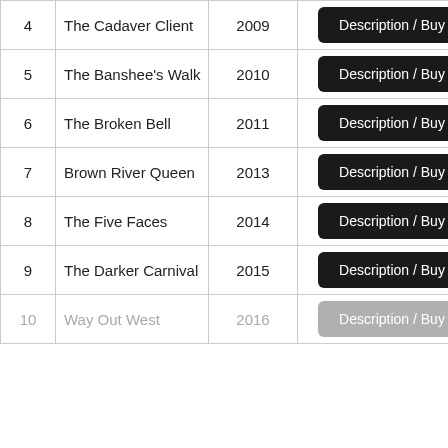| # | Title | Year | Action |
| --- | --- | --- | --- |
| 4 | The Cadaver Client | 2009 | Description / Buy |
| 5 | The Banshee's Walk | 2010 | Description / Buy |
| 6 | The Broken Bell | 2011 | Description / Buy |
| 7 | Brown River Queen | 2013 | Description / Buy |
| 8 | The Five Faces | 2014 | Description / Buy |
| 9 | The Darker Carnival | 2015 | Description / Buy |
| 10 | Way Out West | 2016 | Description / Buy |